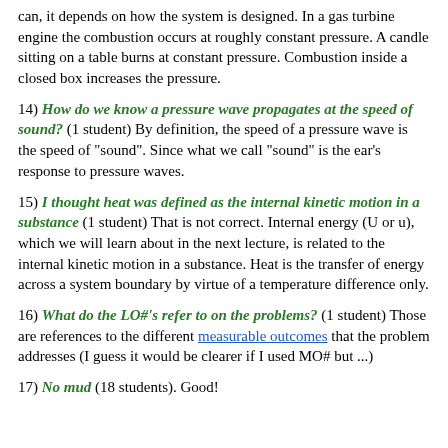can, it depends on how the system is designed. In a gas turbine engine the combustion occurs at roughly constant pressure. A candle sitting on a table burns at constant pressure. Combustion inside a closed box increases the pressure.
14) How do we know a pressure wave propagates at the speed of sound? (1 student) By definition, the speed of a pressure wave is the speed of "sound". Since what we call "sound" is the ear's response to pressure waves.
15) I thought heat was defined as the internal kinetic motion in a substance (1 student) That is not correct. Internal energy (U or u), which we will learn about in the next lecture, is related to the internal kinetic motion in a substance. Heat is the transfer of energy across a system boundary by virtue of a temperature difference only.
16) What do the LO#'s refer to on the problems? (1 student) Those are references to the different measurable outcomes that the problem addresses (I guess it would be clearer if I used MO# but ...)
17) No mud (18 students). Good!